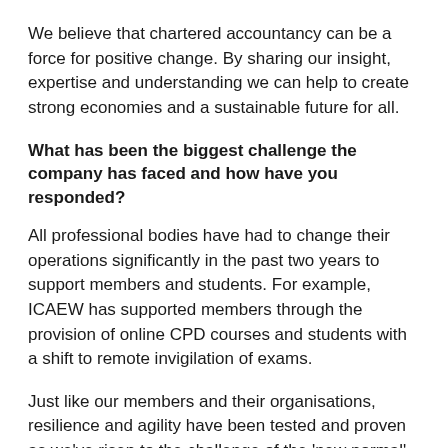We believe that chartered accountancy can be a force for positive change. By sharing our insight, expertise and understanding we can help to create strong economies and a sustainable future for all.
What has been the biggest challenge the company has faced and how have you responded?
All professional bodies have had to change their operations significantly in the past two years to support members and students. For example, ICAEW has supported members through the provision of online CPD courses and students with a shift to remote invigilation of exams.
Just like our members and their organisations, resilience and agility have been tested and proven as we've risen to the challenge of the ‘new normal’.